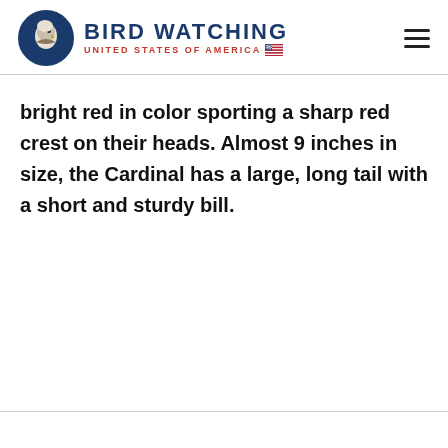BIRD WATCHING UNITED STATES OF AMERICA
bright red in color sporting a sharp red crest on their heads. Almost 9 inches in size, the Cardinal has a large, long tail with a short and sturdy bill.